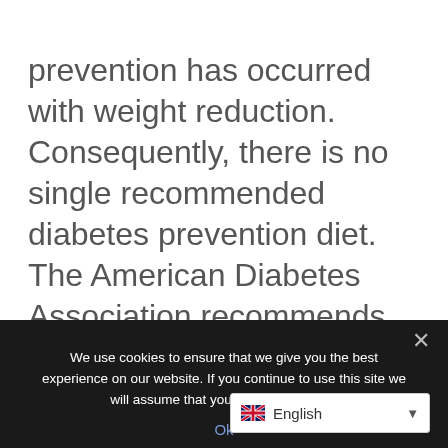prevention has occurred with weight reduction. Consequently, there is no single recommended diabetes prevention diet. The American Diabetes Association recommends goals of modest weight loss (5%-10% of body weight) and moderate exercise as primary interventions for preventing type 2 diabetes.
We use cookies to ensure that we give you the best experience on our website. If you continue to use this site we will assume that you are happy with it.
Ok